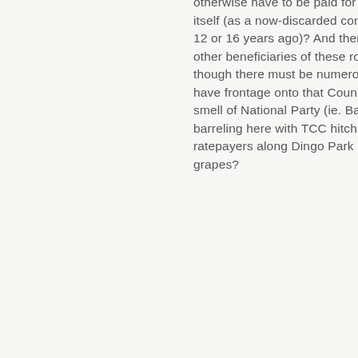adjacent to the Flinders Highway that would otherwise have to be paid for by the business itself (as a now-discarded condition of a DA from 12 or 16 years ago)? And there wouldn't be any other beneficiaries of these roadworks even though there must be numerous properties which have frontage onto that Council road? Is there a smell of National Party (ie. Barnaby) pork barreling here with TCC hitching a ride for ratepayers along Dingo Park Rd or is it just sour grapes?